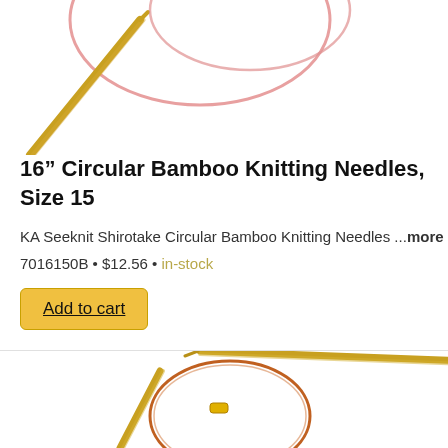[Figure (photo): Circular bamboo knitting needles with red cord, partially cropped at top of page]
16" Circular Bamboo Knitting Needles, Size 15
KA Seeknit Shirotake Circular Bamboo Knitting Needles ...more
7016150B • $12.56 • in-stock
Add to cart
[Figure (photo): Circular bamboo knitting needles with red/orange cord, partially cropped at bottom of page]